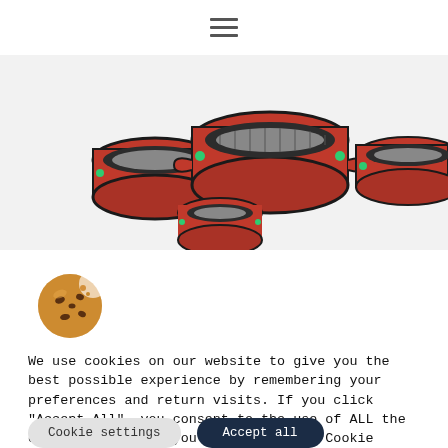[Figure (photo): Hamburger menu icon (three horizontal lines) centered near top of page]
[Figure (photo): Product photo showing multiple red industrial pipe couplings/fittings of various sizes arranged on a white background]
[Figure (photo): Cookie icon: a round chocolate chip cookie with a bite taken out]
We use cookies on our website to give you the best possible experience by remembering your preferences and return visits. If you click "Accept All", you consent to the use of ALL the cookies. However, you can visit the "Cookie Settings" to give controlled consent.
Cookie settings
Accept all